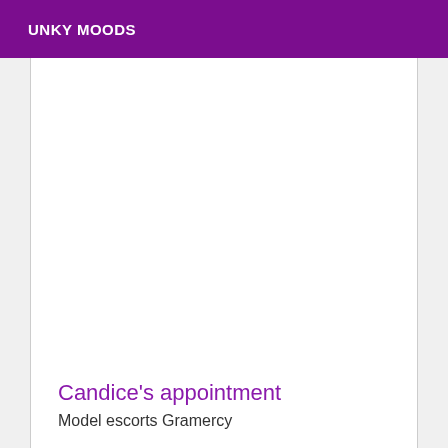UNKY MOODS
Candice's appointment
Model escorts Gramercy